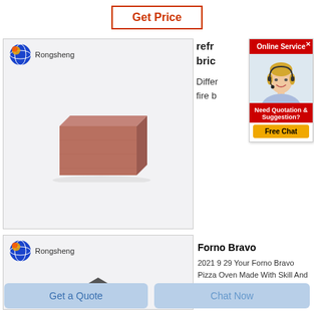Get Price
[Figure (photo): Product image 1: Rongsheng branded product photo showing a reddish-brown rectangular refractory brick on light gray background with Rongsheng logo and globe icon top-left]
[Figure (photo): Product image 2: Rongsheng branded product photo showing a dark gray/black cube-shaped refractory brick with Rongsheng logo top-left]
refr... bric...
Differ... fire b...
[Figure (screenshot): Online Service chat popup with red header 'Online Service', close X button, agent photo (woman with headset smiling), red lower section 'Need Quotation & Suggestion?', and yellow 'Free Chat' button]
Forno Bravo
2021 9 29 Your Forno Bravo Pizza Oven Made With Skill And
Get a Quote
Chat Now